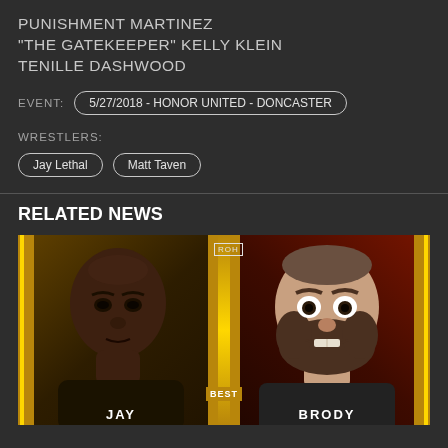PUNISHMENT MARTINEZ
"THE GATEKEEPER" KELLY KLEIN
TENILLE DASHWOOD
EVENT: 5/27/2018 - HONOR UNITED - DONCASTER
WRESTLERS:
Jay Lethal
Matt Taven
RELATED NEWS
[Figure (photo): ROH wrestling promotional image showing two fighters: Jay (left) and Brody (right) with gold border frame and 'BEST' badge at center bottom]